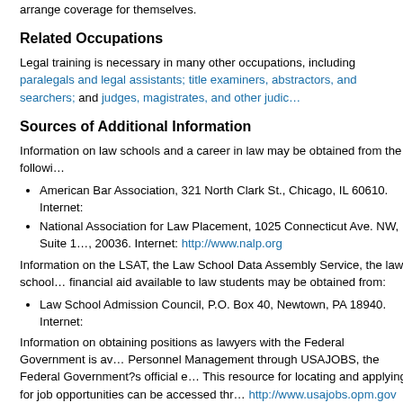their behalf. Lawyers who practice independently are covered only if they arrange coverage for themselves.
Related Occupations
Legal training is necessary in many other occupations, including paralegals and legal assistants; title examiners, abstractors, and searchers; and judges, magistrates, and other judicial workers.
Sources of Additional Information
Information on law schools and a career in law may be obtained from the following:
American Bar Association, 321 North Clark St., Chicago, IL 60610. Internet:
National Association for Law Placement, 1025 Connecticut Ave. NW, Suite 1110, Washington, DC 20036. Internet: http://www.nalp.org
Information on the LSAT, the Law School Data Assembly Service, the law school application process, and financial aid available to law students may be obtained from:
Law School Admission Council, P.O. Box 40, Newtown, PA 18940. Internet:
Information on obtaining positions as lawyers with the Federal Government is available from the Office of Personnel Management through USAJOBS, the Federal Government?s official employment information system. This resource for locating and applying for job opportunities can be accessed through the Internet at http://www.usajobs.opm.gov or through an interactive voice response telephone system at (703) 724-1850; TDD (978) 461-8404. These numbers are not toll-free, and charges may result.